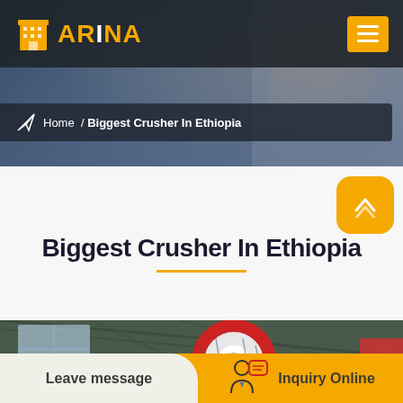[Figure (screenshot): Website screenshot showing ARINA brand logo with golden building icon on dark header bar, hamburger menu button in gold on right side, hero background with blurred industrial photo]
ARINA
Home / Biggest Crusher In Ethiopia
Biggest Crusher In Ethiopia
[Figure (photo): Industrial factory interior showing large crusher machinery with red and white colored drum/wheel components, steel structure ceiling visible]
Leave message
Inquiry Online